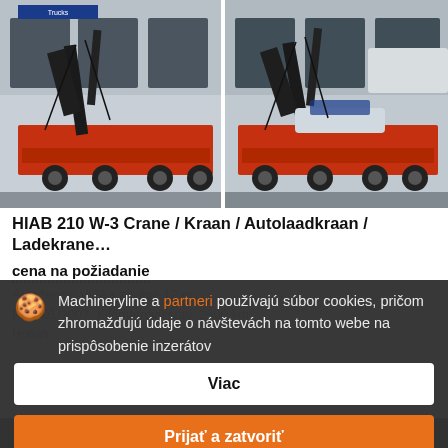[Figure (photo): Two photos of a red low loader trailer with HIAB crane equipment, shown in front of a warehouse/truck dealer building]
HIAB 210 W-3 Crane / Kraan / Autolaadkraan / Ladekrane…
cena na požiadanie
Autoženov, Výška zdvihu: 12 m, Rok: 01/2007, Kilometrový stav: 2500 km, Holand...
Machineryline a partneri používajú súbor cookies, pričom zhromažďujú údaje o návštevách na tomto webe na prispôsobenie inzerátov
Viac
Prijať a zatvoriť